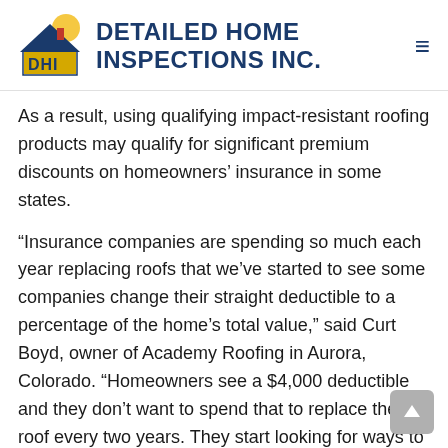[Figure (logo): Detailed Home Inspections Inc. logo with DHI house icon and company name]
As a result, using qualifying impact-resistant roofing products may qualify for significant premium discounts on homeowners' insurance in some states.
“Insurance companies are spending so much each year replacing roofs that we’ve started to see some companies change their straight deductible to a percentage of the home’s total value,” said Curt Boyd, owner of Academy Roofing in Aurora, Colorado. “Homeowners see a $4,000 deductible and they don’t want to spend that to replace their roof every two years. They start looking for ways to buy value.”
The nudge toward impact-rated shingles (sometimes called “IR” shingles) is increasing. Recently, some municipalities in